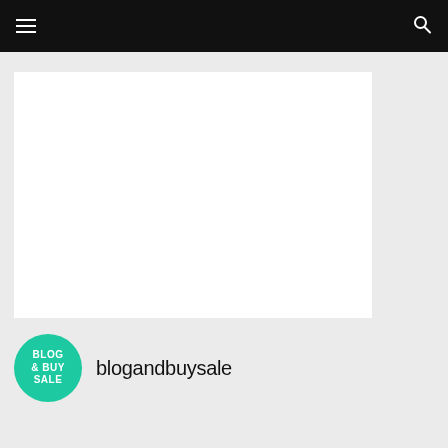[Figure (other): White blank rectangular image placeholder on a light gray background]
[Figure (logo): Circular teal/green logo with text: BLOG & BUY SALE]
blogandbuysale